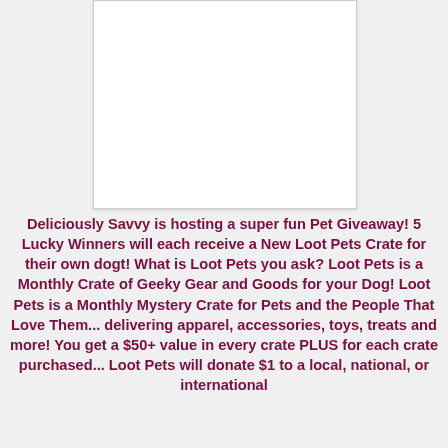[Figure (photo): White/blank image placeholder area with light border and shadow]
Deliciously Savvy is hosting a super fun Pet Giveaway! 5 Lucky Winners will each receive a New Loot Pets Crate for their own dogt! What is Loot Pets you ask? Loot Pets is a Monthly Crate of Geeky Gear and Goods for your Dog! Loot Pets is a Monthly Mystery Crate for Pets and the People That Love Them... delivering apparel, accessories, toys, treats and more! You get a $50+ value in every crate PLUS for each crate purchased... Loot Pets will donate $1 to a local, national, or international